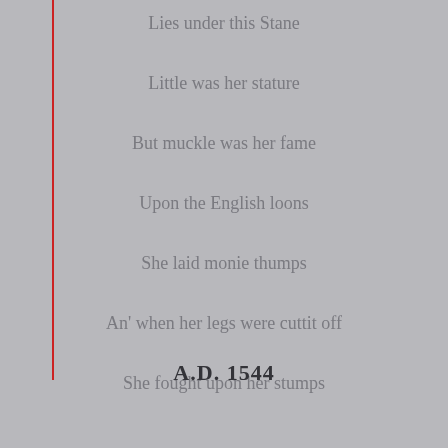Lies under this Stane
Little was her stature
But muckle was her fame
Upon the English loons
She laid monie thumps
An' when her legs were cuttit off
She fought upon her stumps
A.D. 1544